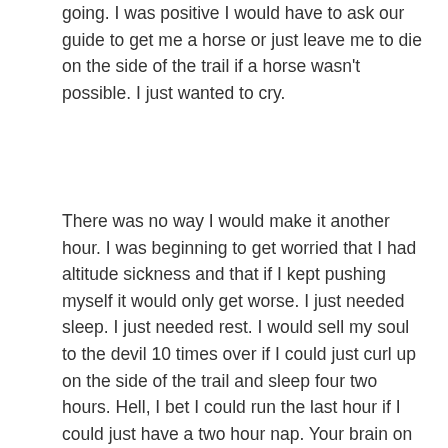going. I was positive I would have to ask our guide to get me a horse or just leave me to die on the side of the trail if a horse wasn't possible. I just wanted to cry.
There was no way I would make it another hour. I was beginning to get worried that I had altitude sickness and that if I kept pushing myself it would only get worse. I just needed sleep. I just needed rest. I would sell my soul to the devil 10 times over if I could just curl up on the side of the trail and sleep four two hours. Hell, I bet I could run the last hour if I could just have a two hour nap. Your brain on no sleep for two days, at 3500m, depleted of much needed oxygen for days, exercising vigorously, is a scary and confused thing; it was making deals with the devil without my consent.